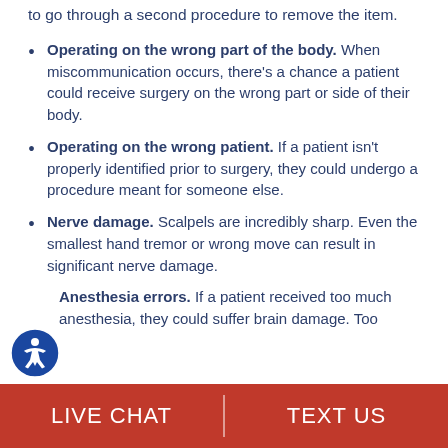to go through a second procedure to remove the item.
Operating on the wrong part of the body. When miscommunication occurs, there's a chance a patient could receive surgery on the wrong part or side of their body.
Operating on the wrong patient. If a patient isn't properly identified prior to surgery, they could undergo a procedure meant for someone else.
Nerve damage. Scalpels are incredibly sharp. Even the smallest hand tremor or wrong move can result in significant nerve damage.
Anesthesia errors. If a patient received too much anesthesia, they could suffer brain damage. Too
LIVE CHAT   TEXT US